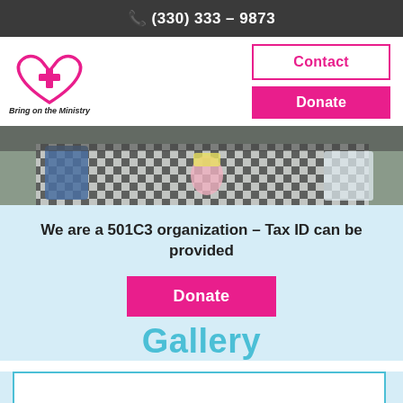(330) 333 – 9873
[Figure (logo): Bring on the Ministry logo — heart shape with cross inside, pink outline with text below]
Contact
Donate
[Figure (photo): A table covered with a black and white checkered tablecloth, with items including bags and toys laid out on it]
We are a 501C3 organization – Tax ID can be provided
Donate
Gallery
[Figure (other): Empty white box with teal/blue border — gallery placeholder]